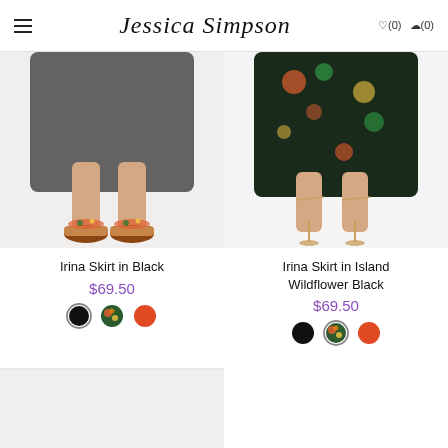Jessica Simpson — navigation header with hamburger menu, logo, wishlist (0), cart (0)
[Figure (photo): Product photo: lower half of model wearing dark skirt and floral platform sandals on white background — Irina Skirt in Black]
Irina Skirt in Black
$69.50
[Figure (other): Three color swatches: black (selected/outlined), floral print, orange-red]
[Figure (photo): Product photo: lower half of model wearing floral print skirt and strappy heeled sandals — Irina Skirt in Island Wildflower Black]
Irina Skirt in Island Wildflower Black
$69.50
[Figure (other): Three color swatches: black, floral print (selected/outlined), orange-red]
[Figure (photo): Partially visible product image with light gray background — loading or third product]